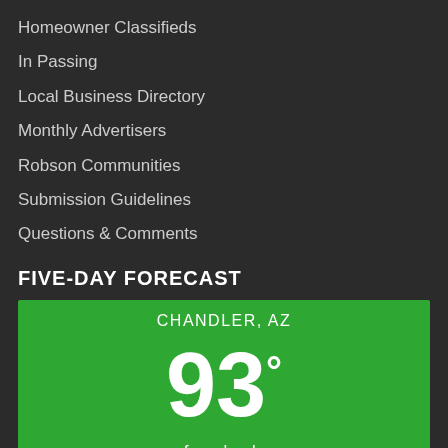Homeowner Classifieds
In Passing
Local Business Directory
Monthly Advertisers
Robson Communities
Submission Guidelines
Questions & Comments
FIVE-DAY FORECAST
[Figure (infographic): Weather widget showing current conditions for Chandler, AZ: 93 degrees, few clouds, 44% humidity, wind: 12m/s S]